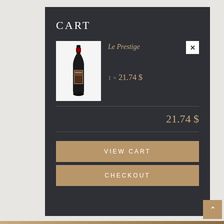CART
[Figure (photo): Wine bottle (Le Prestige) displayed in a white product image box]
Le Prestige
1 × 21.74 $
21.74 $
VIEW CART
CHECKOUT